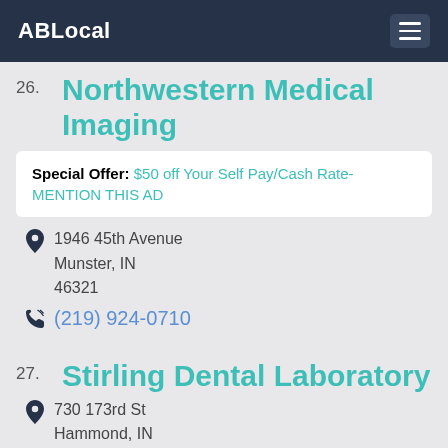ABLocal
26. Northwestern Medical Imaging
Special Offer: $50 off Your Self Pay/Cash Rate- MENTION THIS AD
1946 45th Avenue
Munster, IN
46321
(219) 924-0710
27. Stirling Dental Laboratory
730 173rd St
Hammond, IN